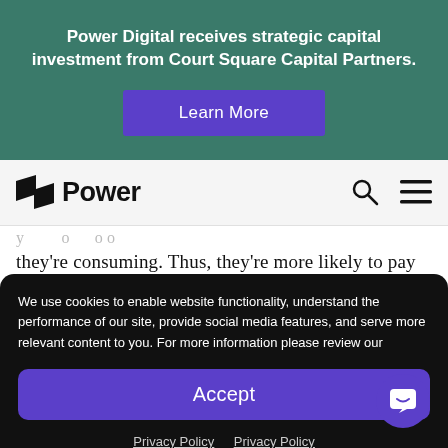Power Digital receives strategic capital investment from Court Square Capital Partners.
Learn More
[Figure (logo): Power Digital logo with stylized flag icon and 'Power' wordmark, plus search and hamburger menu icons]
they're consuming. Thus, they're more likely to pay
We use cookies to enable website functionality, understand the performance of our site, provide social media features, and serve more relevant content to you. For more information please review our
Accept
Privacy Policy  Privacy Policy